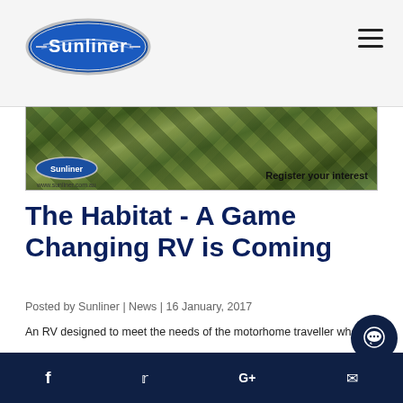Sunliner logo and navigation
[Figure (photo): Sunliner banner advertisement with camouflage background RV, Sunliner logo, www.sunliner.com.au URL, and 'Register your interest' text]
The Habitat - A Game Changing RV is Coming
Posted by Sunliner | News | 16 January, 2017
An RV designed to meet the needs of the motorhome traveller who wants to free camp for longer and access the more remote "secret" camp spots, is under development by Sunliner RV for release in February 2017.
f  t  G+  (email icon)